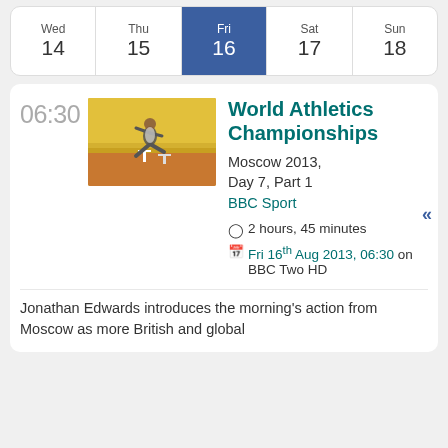| Wed 14 | Thu 15 | Fri 16 | Sat 17 | Sun 18 |
| --- | --- | --- | --- | --- |
06:30
[Figure (photo): Athlete jumping over a hurdle at the World Athletics Championships Moscow 2013]
World Athletics Championships
Moscow 2013, Day 7, Part 1
BBC Sport
2 hours, 45 minutes
Fri 16th Aug 2013, 06:30 on BBC Two HD
Jonathan Edwards introduces the morning's action from Moscow as more British and global